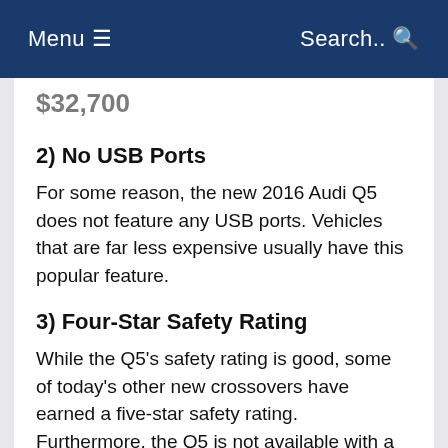Menu ☰   Search..
$32,700
2) No USB Ports
For some reason, the new 2016 Audi Q5 does not feature any USB ports. Vehicles that are far less expensive usually have this popular feature.
3) Four-Star Safety Rating
While the Q5's safety rating is good, some of today's other new crossovers have earned a five-star safety rating. Furthermore, the Q5 is not available with a frontal collision warning system.